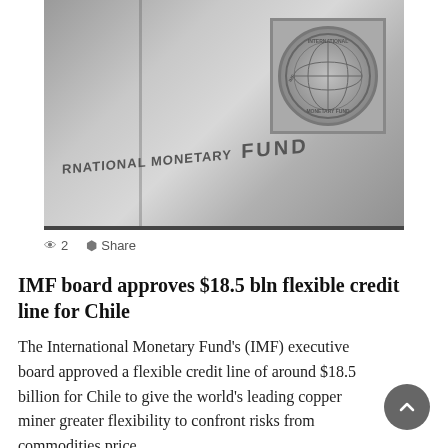[Figure (photo): Photograph of the International Monetary Fund building wall showing 'INTERNATIONAL MONETARY FUND' text engraved and the IMF circular emblem/logo plaque on the right side.]
2   Share
IMF board approves $18.5 bln flexible credit line for Chile
The International Monetary Fund's (IMF) executive board approved a flexible credit line of around $18.5 billion for Chile to give the world's leading copper miner greater flexibility to confront risks from commodities price